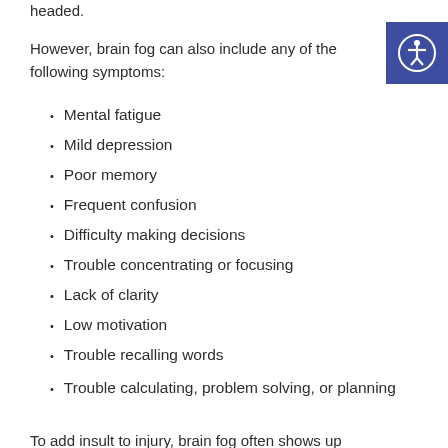headed.
However, brain fog can also include any of the following symptoms:
Mental fatigue
Mild depression
Poor memory
Frequent confusion
Difficulty making decisions
Trouble concentrating or focusing
Lack of clarity
Low motivation
Trouble recalling words
Trouble calculating, problem solving, or planning
To add insult to injury, brain fog often shows up